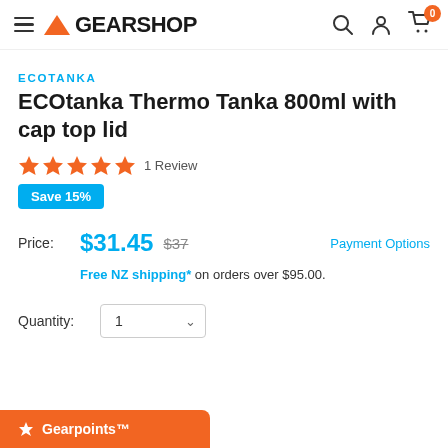GEARSHOP
ECOTANKA
ECOtanka Thermo Tanka 800ml with cap top lid
1 Review
Save 15%
Price: $31.45  $37  Payment Options
Free NZ shipping* on orders over $95.00.
Quantity: 1
Gearpoints™